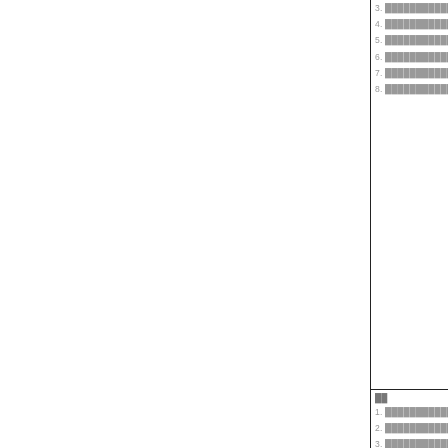3. ████████████████
4. ████████████████
5. ████████████████
6. ████████████████
7. ████████████████
8. ████████████████
██
1. ████████████████████
2. ████████████████,██
3. ████████████████